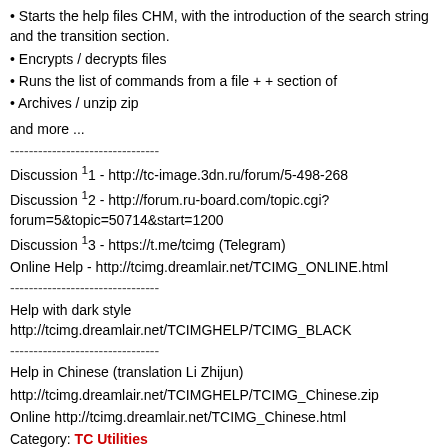• Starts the help files CHM, with the introduction of the search string and the transition section.
• Encrypts / decrypts files
• Runs the list of commands from a file + + section of
• Archives / unzip zip
and more ...
--------------------------------
Discussion ¹1 - http://tc-image.3dn.ru/forum/5-498-268
Discussion ¹2 - http://forum.ru-board.com/topic.cgi?forum=5&topic=50714&start=1200
Discussion ¹3 - https://t.me/tcimg (Telegram)
Online Help - http://tcimg.dreamlair.net/TCIMG_ONLINE.html
--------------------------------
Help with dark style http://tcimg.dreamlair.net/TCIMGHELP/TCIMG_BLACK
--------------------------------
Help in Chinese (translation Li Zhijun)
http://tcimg.dreamlair.net/TCIMGHELP/TCIMG_Chinese.zip
Online http://tcimg.dreamlair.net/TCIMG_Chinese.html
Category: TC Utilities
19390 KB - Updated: 13.08.2022 - x32 - Downloaded  344368 times
JSON Viewer 1.3.1
Simple lister plugin for view JSON files (*.json).